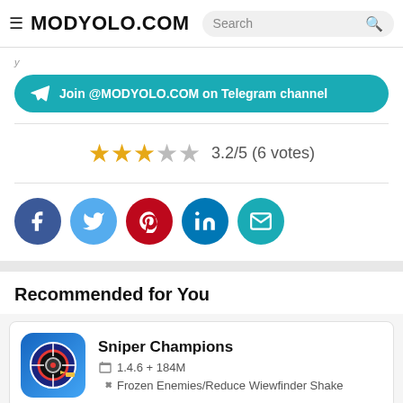MODYOLO.COM  Search
Join @MODYOLO.COM on Telegram channel
3.2/5 (6 votes)
[Figure (other): Social share icons: Facebook, Twitter, Pinterest, LinkedIn, Email]
Recommended for You
Sniper Champions
1.4.6 + 184M
Frozen Enemies/Reduce Wiewfinder Shake
Tennis Clash